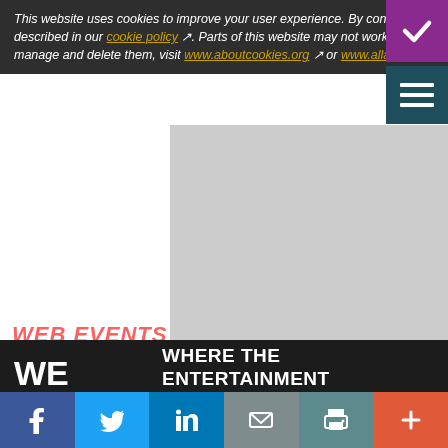This website uses cookies to improve your user experience. By continuing to use this site you consent to the use of cookies on your device, as described in our cookie policy. Parts of this website may not work as expected without cookies. To find out more about cookies, including how to manage and delete them, visit www.aboutcookies.org or www.allaboutcookies.org.
[Figure (screenshot): Gray placeholder image area representing a website screenshot or media embed]
WEB EVENTS
WE ARE
WHERE THE ENTERTAINMENT AND TECHNOLOGY INDUSTRY REUNITE
[Figure (infographic): Social sharing toolbar with Facebook, Twitter, LinkedIn, Email, Print, and More buttons]